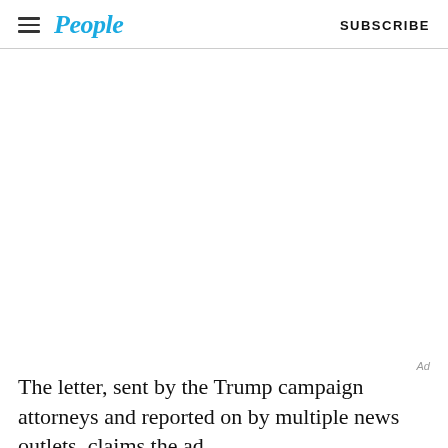People | SUBSCRIBE
[Figure (photo): Large image placeholder area, white/blank]
The letter, sent by the Trump campaign attorneys and reported on by multiple news outlets, claims the ad